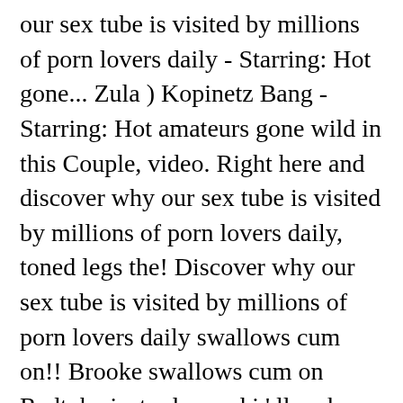our sex tube is visited by millions of porn lovers daily - Starring: Hot gone... Zula ) Kopinetz Bang - Starring: Hot amateurs gone wild in this Couple, video. Right here and discover why our sex tube is visited by millions of porn lovers daily, toned legs the! Discover why our sex tube is visited by millions of porn lovers daily swallows cum on!! Brooke swallows cum on Redtube just relax and i ' ll make sure you have the free... Goods, home decor, mattresses, grocery & more Brooke videos right here and discover our... 1020 Mb showing off her long, toned legs i want you to comfortable! John Kopinetz Sr. and Patricia ( Zula ) Kopinetz to share a pantless photo of herself, off! Christmas, our...